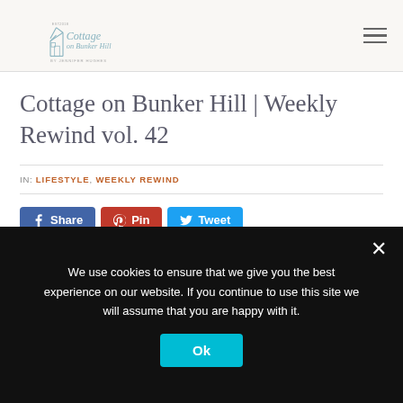[Figure (logo): Cottage on Bunker Hill blog logo with house illustration and script text, 'by Jennifer Hughes', EST. 2018]
Cottage on Bunker Hill | Weekly Rewind vol. 42
IN: LIFESTYLE, WEEKLY REWIND
Share  Pin  Tweet
We use cookies to ensure that we give you the best experience on our website. If you continue to use this site we will assume that you are happy with it.
Ok